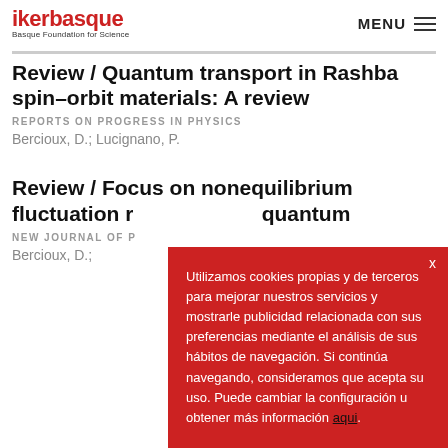ikerbasque — Basque Foundation for Science | MENU
Review / Quantum transport in Rashba spin–orbit materials: A review
REPORTS ON PROGRESS IN PHYSICS
Bercioux, D.; Lucignano, P.
Review / Focus on nonequilibrium fluctuation relations and quantum
NEW JOURNAL OF P
Bercioux, D.;
Utilizamos cookies propias y de terceros para mejorar nuestros servicios y mostrarle publicidad relacionada con sus preferencias mediante el análisis de sus hábitos de navegación. Si continúa navegando, consideramos que acepta su uso. Puede cambiar la configuración u obtener más información aqui.